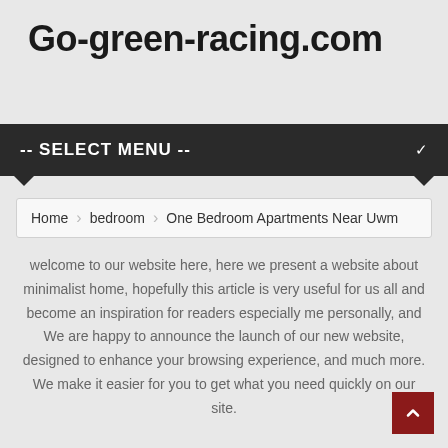Go-green-racing.com
-- SELECT MENU --
Home  bedroom  One Bedroom Apartments Near Uwm
welcome to our website here, here we present a website about minimalist home, hopefully this article is very useful for us all and become an inspiration for readers especially me personally, and We are happy to announce the launch of our new website, designed to enhance your browsing experience, and much more. We make it easier for you to get what you need quickly on our site.